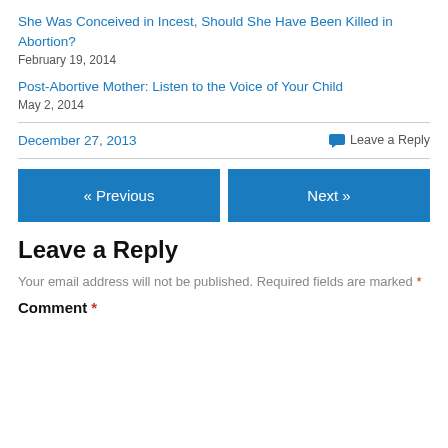She Was Conceived in Incest, Should She Have Been Killed in Abortion?
February 19, 2014
Post-Abortive Mother: Listen to the Voice of Your Child
May 2, 2014
December 27, 2013
💬 Leave a Reply
« Previous
Next »
Leave a Reply
Your email address will not be published. Required fields are marked *
Comment *